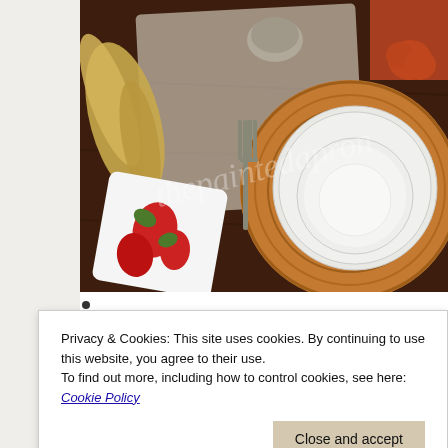[Figure (photo): A Thanksgiving table setting photographed from above at an angle, showing a wicker charger plate with white china stacked on top, a fork on a dark wooden table, a floral cloth napkin with red flowers, dried corn husks, and holiday decorations including small pumpkins and metallic silver accents in the background. A watermark reading 'thepaintedapron' is visible across the image.]
•
Privacy & Cookies: This site uses cookies. By continuing to use this website, you agree to their use.
To find out more, including how to control cookies, see here: Cookie Policy
[Figure (photo): Partial view of a second photo showing a table setting with floral and striped textiles.]